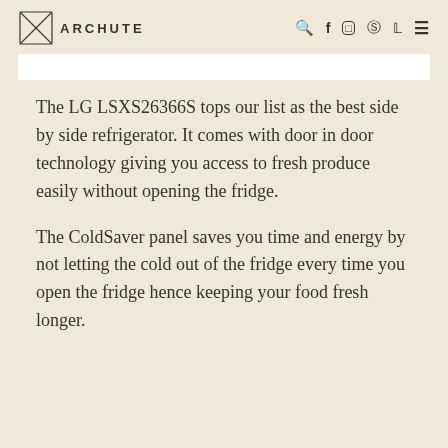ARCHUTE
The LG LSXS26366S tops our list as the best side by side refrigerator. It comes with door in door technology giving you access to fresh produce easily without opening the fridge.
The ColdSaver panel saves you time and energy by not letting the cold out of the fridge every time you open the fridge hence keeping your food fresh longer.